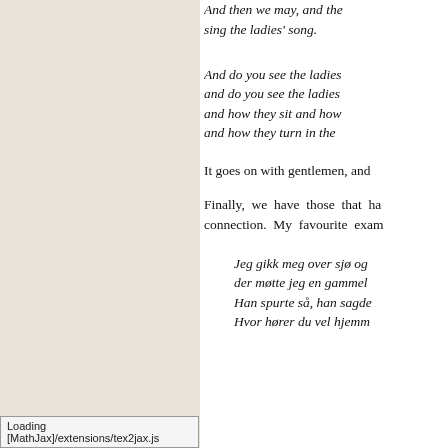and the poem continues ...
And then we may, and the sing the ladies' song.
And do you see the ladies and do you see the ladies and how they sit and how and how they turn in the
It goes on with gentlemen, and
Finally, we have those that ha connection. My favourite exam
Jeg gikk meg over sjø og der møtte jeg en gammel Han spurte så, han sagde Hvor hører du vel hjemm